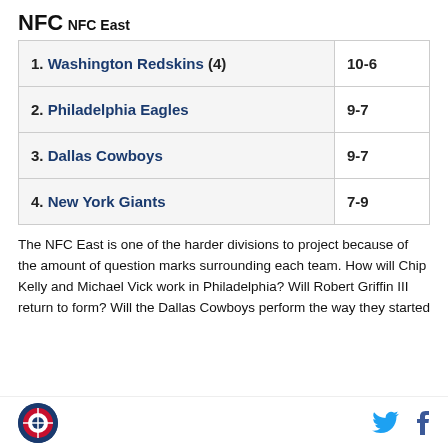NFC
NFC East
| Team | Record |
| --- | --- |
| 1. Washington Redskins (4) | 10-6 |
| 2. Philadelphia Eagles | 9-7 |
| 3. Dallas Cowboys | 9-7 |
| 4. New York Giants | 7-9 |
The NFC East is one of the harder divisions to project because of the amount of question marks surrounding each team. How will Chip Kelly and Michael Vick work in Philadelphia? Will Robert Griffin III return to form? Will the Dallas Cowboys perform the way they started
Logo | Twitter | Facebook